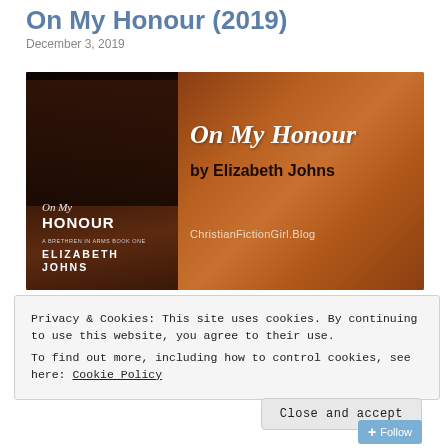On My Honour (2019)
December 3, 2019
[Figure (illustration): Book cover banner for 'On My Honour' by Elizabeth Johns. Left side shows the book cover with a Regency-era man in dark coat, title 'On My Honour' in italic script and bold uppercase, subtitle 'A Brethren in Arms Book One', and author name 'Elizabeth Johns'. Right side on a warm brown gradient background shows the cursive title 'On My Honour' and bold text 'by Elizabeth Johns' with 'ChristianFictionGirl.Blog' in the lower right.]
Privacy & Cookies: This site uses cookies. By continuing to use this website, you agree to their use.
To find out more, including how to control cookies, see here: Cookie Policy
Close and accept
Follow